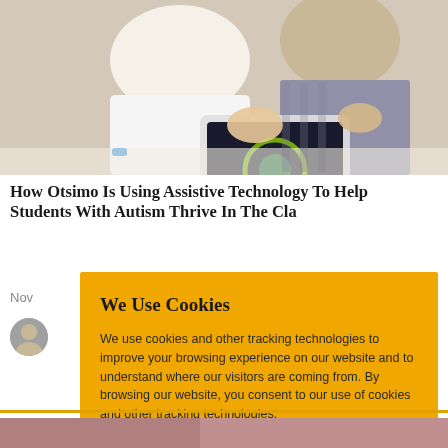[Figure (photo): Two people looking at a tablet together, one in a white shirt with a blue wristband, another in a grey checkered shirt]
How Otsimo Is Using Assistive Technology To Help Students With Autism Thrive In The Classroom
Nov
[Figure (photo): Author avatar - small circular profile photo]
We Use Cookies
We use cookies and other tracking technologies to improve your browsing experience on our website and to understand where our visitors are coming from. By browsing our website, you consent to our use of cookies and other tracking technologies.
ACCEPT
REJECT
[Figure (photo): Partial photo visible at the bottom of the page]